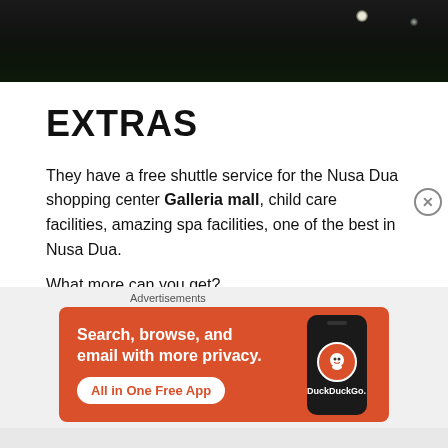[Figure (photo): Dark nighttime photo of foliage and lights]
EXTRAS
They have a free shuttle service for the Nusa Dua shopping center Galleria mall, child care facilities, amazing spa facilities, one of the best in Nusa Dua.
What more can you get?
There is more, they have small shops inside the resort, selling cultural articles.
[Figure (screenshot): DuckDuckGo advertisement banner: Search, browse, and email with more privacy. All in One Free App. Shows phone with DuckDuckGo logo.]